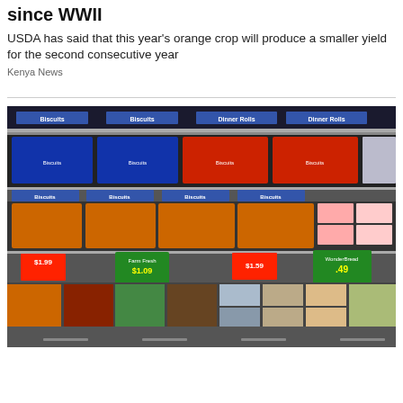since WWII
USDA has said that this year's orange crop will produce a smaller yield for the second consecutive year
Kenya News
[Figure (photo): Grocery store refrigerated shelf section displaying packaged biscuits, dinner rolls, and other refrigerated dough products with price signs]